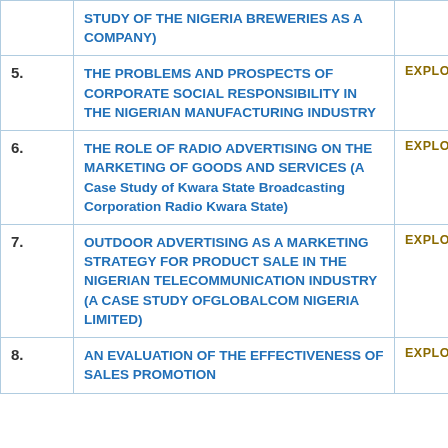| # | Title | Action |
| --- | --- | --- |
|  | STUDY OF THE NIGERIA BREWERIES AS A COMPANY) |  |
| 5. | THE PROBLEMS AND PROSPECTS OF CORPORATE SOCIAL RESPONSIBILITY IN THE NIGERIAN MANUFACTURING INDUSTRY | EXPLORE |
| 6. | THE ROLE OF RADIO ADVERTISING ON THE MARKETING OF GOODS AND SERVICES (A Case Study of Kwara State Broadcasting Corporation Radio Kwara State) | EXPLORE |
| 7. | OUTDOOR ADVERTISING AS A MARKETING STRATEGY FOR PRODUCT SALE IN THE NIGERIAN TELECOMMUNICATION INDUSTRY (A CASE STUDY OFGLOBALCOM NIGERIA LIMITED) | EXPLORE |
| 8. | AN EVALUATION OF THE EFFECTIVENESS OF SALES PROMOTION | EXPLORE |